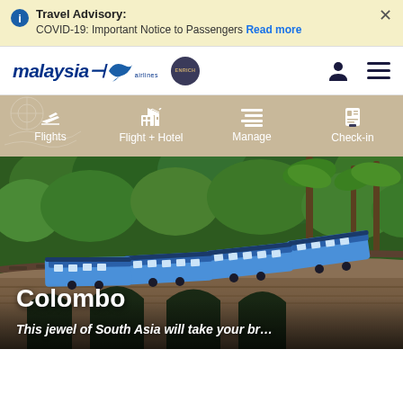Travel Advisory: COVID-19: Important Notice to Passengers Read more
[Figure (logo): Malaysia Airlines logo with blue bird icon, Enrich badge, user icon and hamburger menu]
[Figure (infographic): Navigation bar with Flights, Flight + Hotel, Manage, Check-in options on tan/beige background]
[Figure (photo): Blue train crossing a stone viaduct bridge surrounded by dense green tropical forest]
Colombo
This jewel of South Asia will take your br…